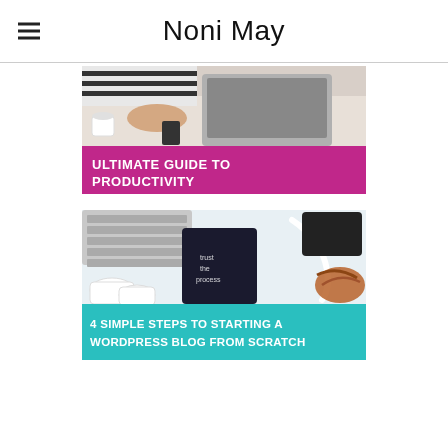Noni May
[Figure (infographic): Blog post thumbnail showing a woman in a striped shirt working on a MacBook laptop, with a magenta/pink banner at the bottom reading 'ULTIMATE GUIDE TO PRODUCTIVITY' in white bold text.]
[Figure (infographic): Blog post thumbnail showing a flat-lay of a laptop keyboard, white mugs, a dark notebook with handwriting, headphones, and sandals, with a teal/turquoise banner at the bottom reading '4 SIMPLE STEPS TO STARTING A WORDPRESS BLOG FROM SCRATCH' in white bold text.]